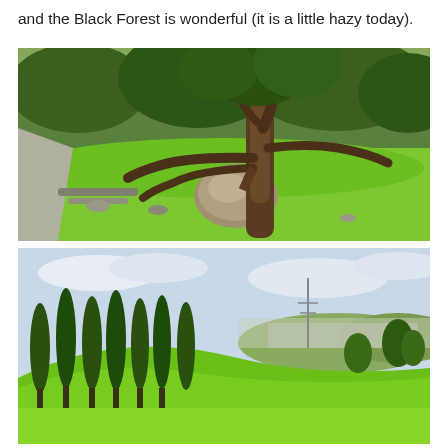and the Black Forest is wonderful (it is a little hazy today).
[Figure (photo): A large tree with gnarled, spreading low branches resting on a large boulder, surrounded by bright green grass. A paved path is visible on the left side.]
[Figure (photo): A rolling green hillside with tall, slender cypress trees in a row on the left. A panoramic view of a city or town is visible in the background under a partly cloudy sky.]